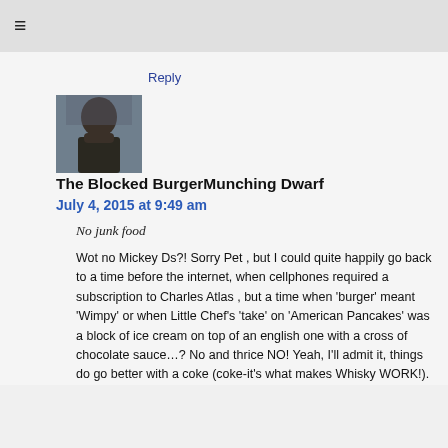≡
Reply
[Figure (photo): Avatar photo of a person, dark toned image]
The Blocked BurgerMunching Dwarf
July 4, 2015 at 9:49 am
No junk food
Wot no Mickey Ds?! Sorry Pet , but I could quite happily go back to a time before the internet, when cellphones required a subscription to Charles Atlas , but a time when 'burger' meant 'Wimpy' or when Little Chef's 'take' on 'American Pancakes' was a block of ice cream on top of an english one with a cross of chocolate sauce…? No and thrice NO! Yeah, I'll admit it, things do go better with a coke (coke-it's what makes Whisky WORK!).